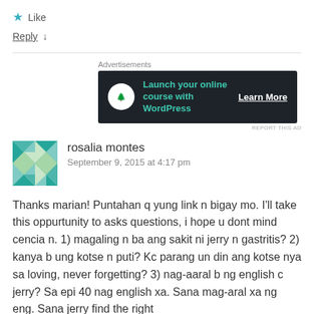★ Like
Reply ↓
[Figure (screenshot): WordPress advertisement banner: dark background with bonsai tree icon, teal text 'Launch your online course with WordPress', and white 'Learn More' button]
REPORT THIS AD
rosalia montes
September 9, 2015 at 4:17 pm
Thanks marian! Puntahan q yung link n bigay mo. I'll take this oppurtunity to asks questions, i hope u dont mind cencia n. 1) magaling n ba ang sakit ni jerry n gastritis? 2) kanya b ung kotse n puti? Kc parang un din ang kotse nya sa loving, never forgetting? 3) nag-aaral b ng english c jerry? Sa epi 40 nag english xa. Sana mag-aral xa ng eng. Sana jerry find the right